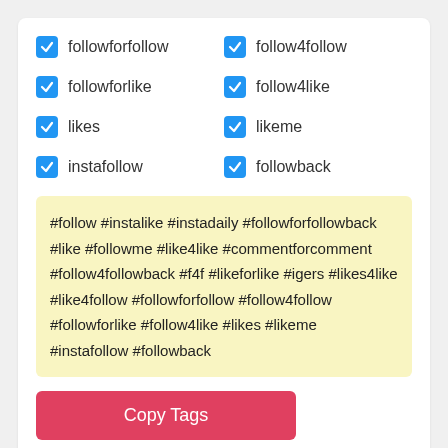followforfollow
follow4follow
followforlike
follow4like
likes
likeme
instafollow
followback
#follow #instalike #instadaily #followforfollowback #like #followme #like4like #commentforcomment #follow4followback #f4f #likeforlike #igers #likes4like #like4follow #followforfollow #follow4follow #followforlike #follow4like #likes #likeme #instafollow #followback
Copy Tags
List 4: Common photography